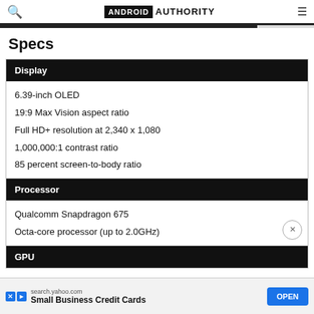ANDROID AUTHORITY
Specs
Display
6.39-inch OLED
19:9 Max Vision aspect ratio
Full HD+ resolution at 2,340 x 1,080
1,000,000:1 contrast ratio
85 percent screen-to-body ratio
Processor
Qualcomm Snapdragon 675
Octa-core processor (up to 2.0GHz)
GPU